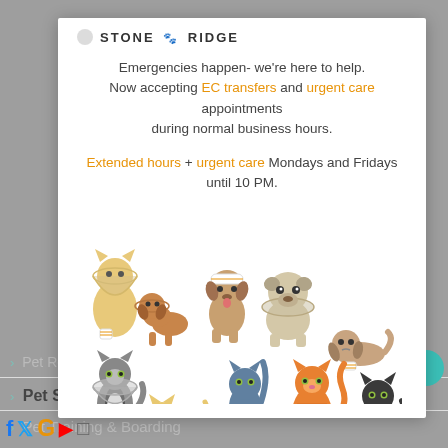[Figure (logo): Stone Ridge veterinary logo with paw print icon]
Emergencies happen- we're here to help.
Now accepting EC transfers and urgent care appointments during normal business hours.
Extended hours + urgent care Mondays and Fridays until 10 PM.
[Figure (illustration): Cartoon illustration of injured/sick pets including dogs and cats wearing cones, bandages, and in wheelchairs]
> Pet Rescue & Adoption
> Pet Safety
> Pet Training & Boarding